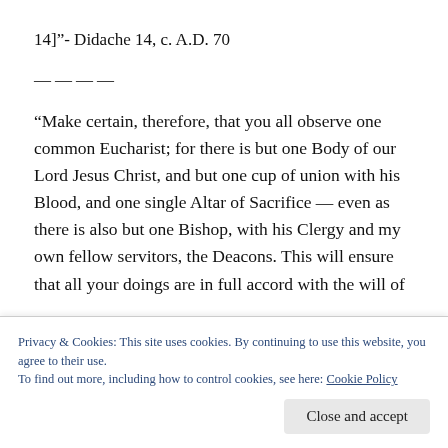14]"– Didache 14, c. A.D. 70
————
“Make certain, therefore, that you all observe one common Eucharist; for there is but one Body of our Lord Jesus Christ, and but one cup of union with his Blood, and one single Altar of Sacrifice — even as there is also but one Bishop, with his Clergy and my own fellow servitors, the Deacons. This will ensure that all your doings are in full accord with the will of
Privacy & Cookies: This site uses cookies. By continuing to use this website, you agree to their use.
To find out more, including how to control cookies, see here: Cookie Policy
Close and accept